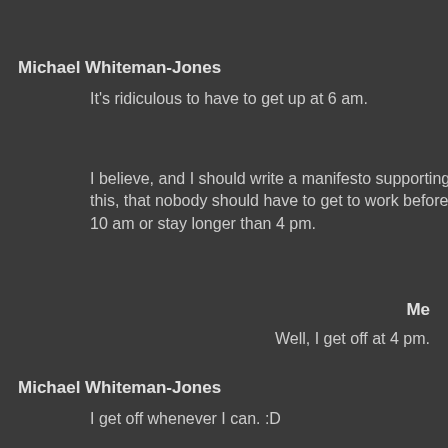Michael Whiteman-Jones
It's ridiculous to have to get up at 6 am.
I believe, and I should write a manifesto supporting this, that nobody should have to get to work before 10 am or stay longer than 4 pm.
Me
Well, I get off at 4 pm.
Michael Whiteman-Jones
I get off whenever I can. :D